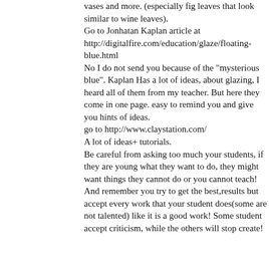vases and more. (especially fig leaves that look similar to wine leaves).
Go to Jonhatan Kaplan article at http://digitalfire.com/education/glaze/floating-blue.html
No I do not send you because of the "mysterious blue". Kaplan Has a lot of ideas, about glazing, I heard all of them from my teacher. But here they come in one page. easy to remind you and give you hints of ideas.
go to http://www.claystation.com/
A lot of ideas+ tutorials.
Be careful from asking too much your students, if they are young what they want to do, they might want things they cannot do or you cannot teach!
And remember you try to get the best,results but accept every work that your student does(some are not talented) like it is a good work! Some student accept criticism, while the others will stop create!